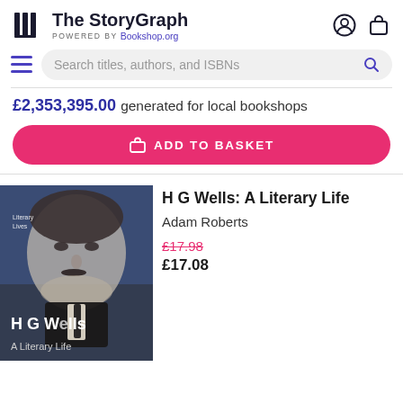The StoryGraph — POWERED BY Bookshop.org
Search titles, authors, and ISBNs
£2,353,395.00 generated for local bookshops
ADD TO BASKET
[Figure (photo): Book cover of 'H G Wells: A Literary Life' showing a black and white photograph of H G Wells]
H G Wells: A Literary Life
Adam Roberts
£17.98 (strikethrough) £17.08